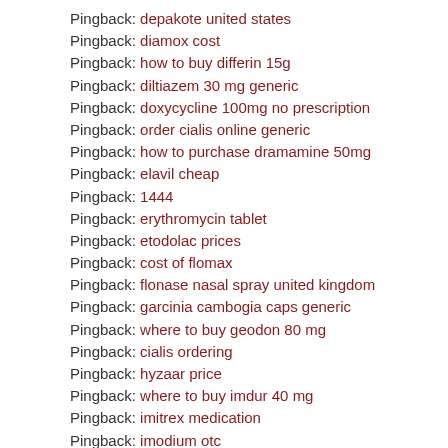Pingback: depakote united states
Pingback: diamox cost
Pingback: how to buy differin 15g
Pingback: diltiazem 30 mg generic
Pingback: doxycycline 100mg no prescription
Pingback: order cialis online generic
Pingback: how to purchase dramamine 50mg
Pingback: elavil cheap
Pingback: 1444
Pingback: erythromycin tablet
Pingback: etodolac prices
Pingback: cost of flomax
Pingback: flonase nasal spray united kingdom
Pingback: garcinia cambogia caps generic
Pingback: where to buy geodon 80 mg
Pingback: cialis ordering
Pingback: hyzaar price
Pingback: where to buy imdur 40 mg
Pingback: imitrex medication
Pingback: imodium otc
Pingback: see this site
Pingback: he has a good point
Pingback: imuran over the counter